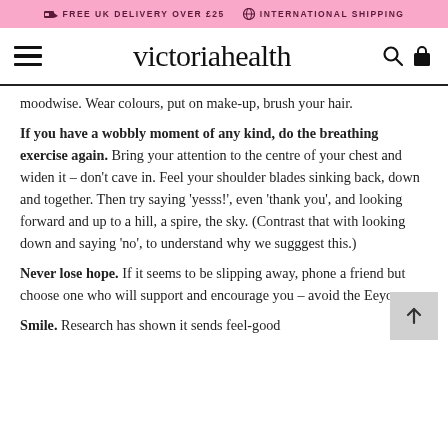FREE UK DELIVERY OVER £25   INTERNATIONAL SHIPPING
victoriahealth
moodwise. Wear colours, put on make-up, brush your hair.
If you have a wobbly moment of any kind, do the breathing exercise again. Bring your attention to the centre of your chest and widen it – don't cave in. Feel your shoulder blades sinking back, down and together. Then try saying 'yesss!', even 'thank you', and looking forward and up to a hill, a spire, the sky. (Contrast that with looking down and saying 'no', to understand why we sugggest this.)
Never lose hope. If it seems to be slipping away, phone a friend but choose one who will support and encourage you – avoid the Eeyores.
Smile. Research has shown it sends feel-good